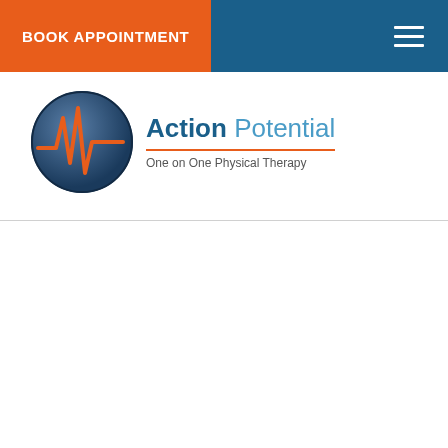BOOK APPOINTMENT
[Figure (logo): Action Potential One on One Physical Therapy logo with circular emblem showing a blue sphere with orange waveform and text 'Action Potential / One on One Physical Therapy']